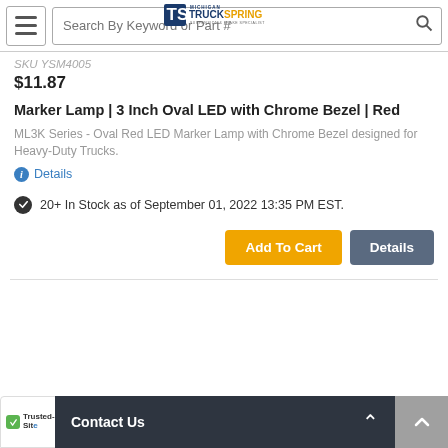Michigan TruckSpring - Suspension & Brake Specialist
SKU YSM4005
$11.87
Marker Lamp | 3 Inch Oval LED with Chrome Bezel | Red
ML3K Series - Oval Red LED Marker Lamp with Chrome Bezel designed for Heavy-Duty Trucks.
Details
20+ In Stock as of September 01, 2022 13:35 PM EST.
Add To Cart | Details
Contact Us | TrustedSite